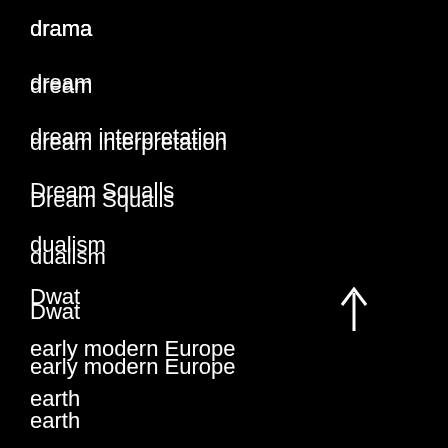drama
dream
dream interpretation
Dream Squalls
dualism
Dwat
early modern Europe
earth
earthing
eclipses
ecosystem
Eduardo Kohn